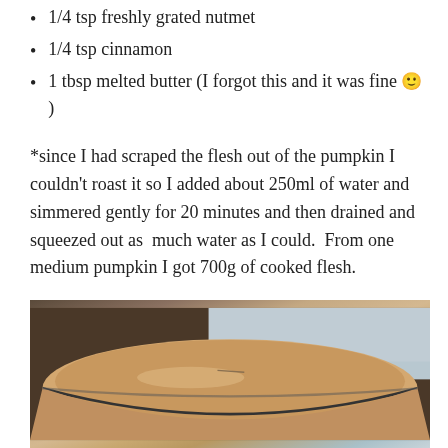1/4 tsp freshly grated nutmet
1/4 tsp cinnamon
1 tbsp melted butter (I forgot this and it was fine 🙂 )
*since I had scraped the flesh out of the pumpkin I couldn't roast it so I added about 250ml of water and simmered gently for 20 minutes and then drained and squeezed out as  much water as I could.  From one medium pumpkin I got 700g of cooked flesh.
[Figure (photo): Photo of a bowl of pumpkin soup or puree, viewed from above, showing a creamy orange-beige liquid in a dark-rimmed bowl against a light background]